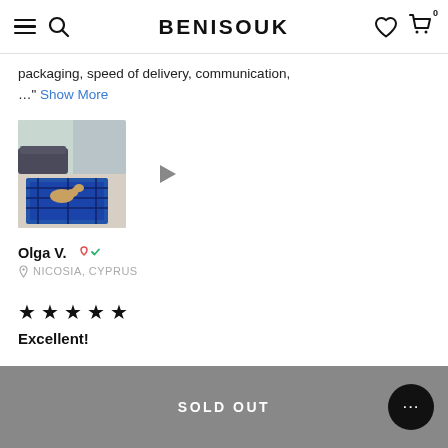BENISOUK
packaging, speed of delivery, communication, …" Show More
[Figure (photo): Photo of a blue Moroccan rug with a cat lying on it, in a modern living room setting. A play button icon appears to the right suggesting a video thumbnail.]
Olga V. 🤍✓
NICOSIA, CYPRUS
★★★★★
Excellent!
SOLD OUT